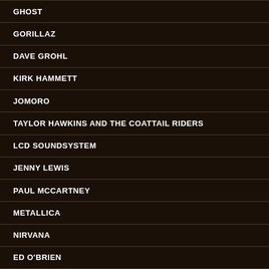GHOST
GORILLAZ
DAVE GROHL
KIRK HAMMETT
JOMORO
TAYLOR HAWKINS AND THE COATTAIL RIDERS
LCD SOUNDSYSTEM
JENNY LEWIS
PAUL MCCARTNEY
METALLICA
NIRVANA
ED O'BRIEN